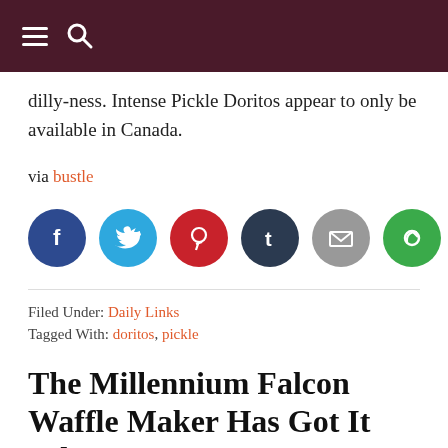≡ 🔍
dilly-ness. Intense Pickle Doritos appear to only be available in Canada.
via bustle
[Figure (infographic): Row of six social share circular icons: Facebook (blue), Twitter (light blue), Pinterest (red), Tumblr (dark blue), Email (gray), Share (green)]
Filed Under: Daily Links
Tagged With: doritos, pickle
The Millennium Falcon Waffle Maker Has Got It Where It Counts,